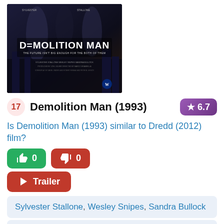[Figure (photo): Demolition Man (1993) movie poster with dark blue/black background, large bold title text 'DEMOLITION MAN', subtitle 'THE FUTURE ISN'T BIG ENOUGH FOR THE BOTH OF THEM']
17  Demolition Man (1993)  ★ 6.7
Is Demolition Man (1993) similar to Dredd (2012) film?
👍 0   👎 0
▶ Trailer
Sylvester Stallone, Wesley Snipes, Sandra Bullock
Action, Sci-Fi, Thriller
A police officer is brought out of suspended animation in prison to pursue an old ultra-violent nemesis who is